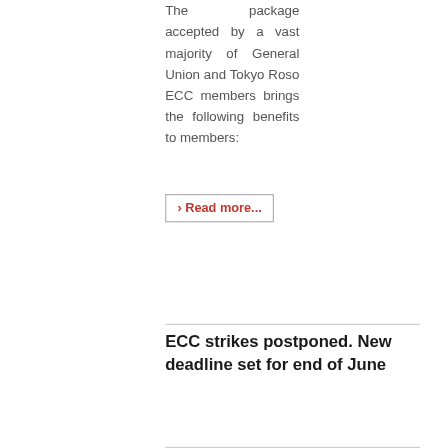The package accepted by a vast majority of General Union and Tokyo Roso ECC members brings the following benefits to members:
› Read more...
ECC strikes postponed. New deadline set for end of June
[Figure (infographic): Social sharing icons row: Facebook (blue), Twitter (light blue), Email (grey), Print (dark grey)]
[Figure (illustration): Red rubber stamp style image with the word POSTPONED in bold capital red letters with a rectangular border]
As the union held three new negotiation sessions during May and some progress was made in terms of proposals from the company (they moved off their ALL NO plan). ECC union officers